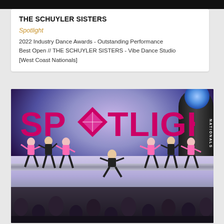THE SCHUYLER SISTERS
Spotlight
2022 Industry Dance Awards - Outstanding Performance Best Open // THE SCHUYLER SISTERS - Vibe Dance Studio [West Coast Nationals]
[Figure (photo): Dance performance on a stage with SPOTLIGHT logo in large pink letters in the background. Multiple dancers wearing pink and black costumes performing. A large black cylindrical column is on the right with a blue spotlight. The audience is visible in the foreground.]